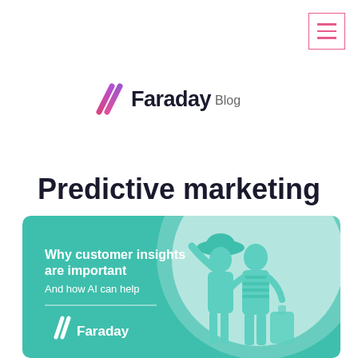[Figure (logo): Hamburger menu icon, pink/magenta lines in a bordered box, top right corner]
[Figure (logo): Faraday Blog logo with two diagonal slash marks in gradient purple-pink and bold black text 'Faraday' with lighter 'Blog']
Predictive marketing
Data-driven solutions to help you stay ahead of the curve, whether you're a marketing team of 1 or 100.
[Figure (illustration): Teal/green card with 'Why customer insights are important - And how AI can help' text on left, Faraday logo at bottom, and two teal-tinted people (woman and man with luggage) on right side against a white circle background]